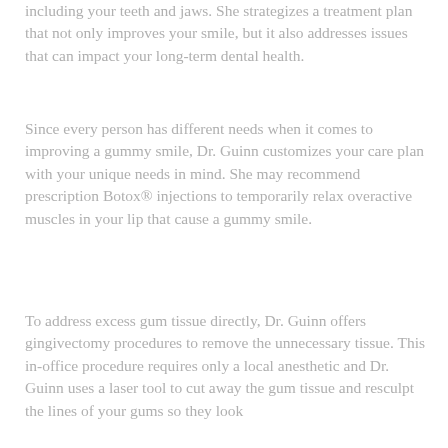including your teeth and jaws. She strategizes a treatment plan that not only improves your smile, but it also addresses issues that can impact your long-term dental health.
Since every person has different needs when it comes to improving a gummy smile, Dr. Guinn customizes your care plan with your unique needs in mind. She may recommend prescription Botox® injections to temporarily relax overactive muscles in your lip that cause a gummy smile.
To address excess gum tissue directly, Dr. Guinn offers gingivectomy procedures to remove the unnecessary tissue. This in-office procedure requires only a local anesthetic and Dr. Guinn uses a laser tool to cut away the gum tissue and resculpt the lines of your gums so they look